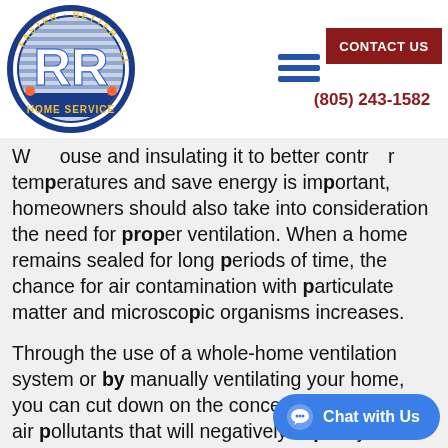Improved Ventilation
[Figure (logo): RR Home Service circular logo with text FASTER BETTER CLEANER around the border, featuring stylized RR letters in blue/white, with HOME SERVICE text at bottom]
CONTACT US
(805) 243-1582
While sealing your house and insulating it to better control temperatures and save energy is important, homeowners should also take into consideration the need for proper ventilation. When a home remains sealed for long periods of time, the chance for air contamination with particulate matter and microscopic organisms increases.
Through the use of a whole-home ventilation system or by manually ventilating your home, you can cut down on the concentration of indoor air pollutants that will negatively impact your health. A ventilation system will remove particulate matter and pathogens while supplying your home with clean, fresh air. If you do not have a ventilation